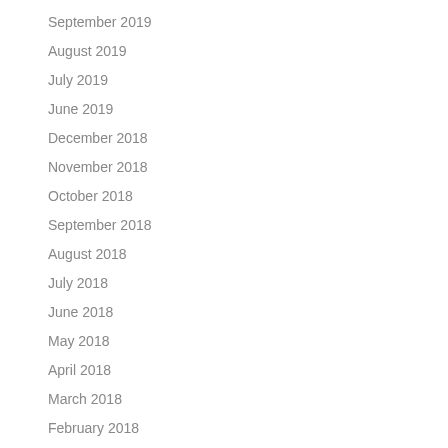September 2019
August 2019
July 2019
June 2019
December 2018
November 2018
October 2018
September 2018
August 2018
July 2018
June 2018
May 2018
April 2018
March 2018
February 2018